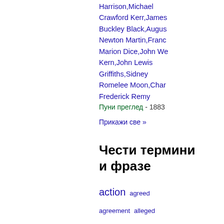Harrison,Michael Crawford Kerr,James Buckley Black,Augustus Newton Martin,Francis Marion Dice,John Wesley Kern,John Lewis Griffiths,Sidney Romelee Moon,Charles Frederick Remy
Пуни преглед - 1883
Прикажи све »
Чести термини и фразе
action  agreed  agreement  alleged  amount  answer  appellant  appellee  applied